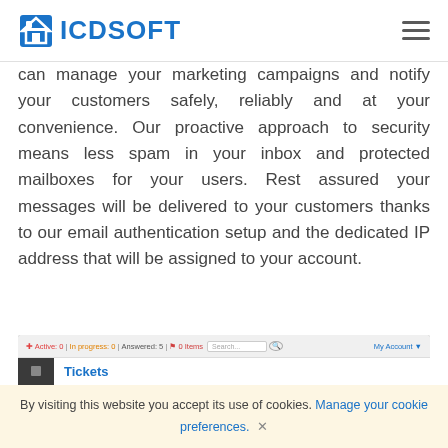ICDSOFT
can manage your marketing campaigns and notify your customers safely, reliably and at your convenience. Our proactive approach to security means less spam in your inbox and protected mailboxes for your users. Rest assured your messages will be delivered to your customers thanks to our email authentication setup and the dedicated IP address that will be assigned to your account.
[Figure (screenshot): Screenshot of ICDSOFT support ticket interface showing Tickets section with sidebar navigation, status bar showing Active 0, In progress 0, Answered 5, 0 items, search box and My Account link]
By visiting this website you accept its use of cookies. Manage your cookie preferences. ×